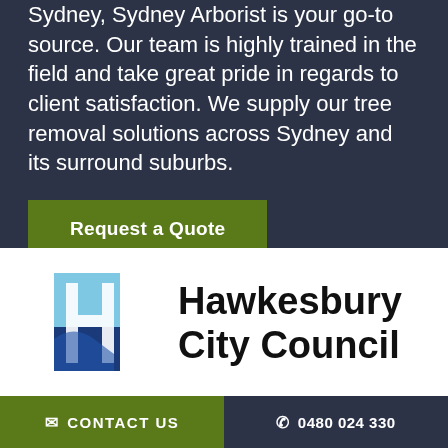Sydney, Sydney Arborist is your go-to source. Our team is highly trained in the field and take great pride in regards to client satisfaction. We supply our tree removal solutions across Sydney and its surround suburbs.
Request a Quote
[Figure (logo): Hawkesbury City Council logo with blue geometric H icon and bold black text]
[Figure (logo): The Hills Council logo in green rectangle with white stylized text]
[Figure (logo): Colorful flower/leaf logo in pink, yellow and blue]
✉ CONTACT US  ✆ 0480 024 330